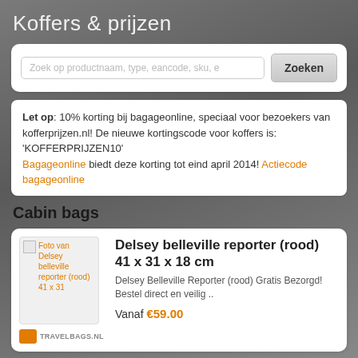Koffers & prijzen
[Figure (screenshot): Search bar with input field placeholder 'Zoek op productnaam, type, eancode, sku, e' and a button labeled 'Zoeken']
Let op: 10% korting bij bagageonline, speciaal voor bezoekers van kofferprijzen.nl! De nieuwe kortingscode voor koffers is: 'KOFFERPRIJZEN10' Bagageonline biedt deze korting tot eind april 2014! Actiecode bagageonline
Cabin bags
Delsey belleville reporter (rood) 41 x 31 x 18 cm
Delsey Belleville Reporter (rood) Gratis Bezorgd! Bestel direct en veilig ..
Vanaf €59.00